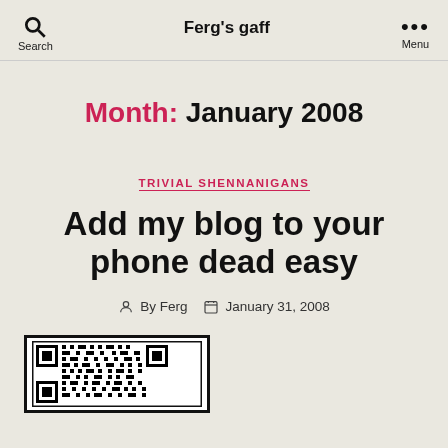Ferg's gaff | Search | Menu
Month: January 2008
TRIVIAL SHENNANIGANS
Add my blog to your phone dead easy
By Ferg   January 31, 2008
[Figure (other): QR code for the blog]